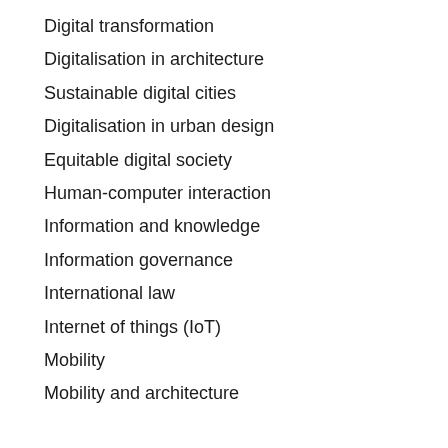Digital transformation
Digitalisation in architecture
Sustainable digital cities
Digitalisation in urban design
Equitable digital society
Human-computer interaction
Information and knowledge
Information governance
International law
Internet of things (IoT)
Mobility
Mobility and architecture